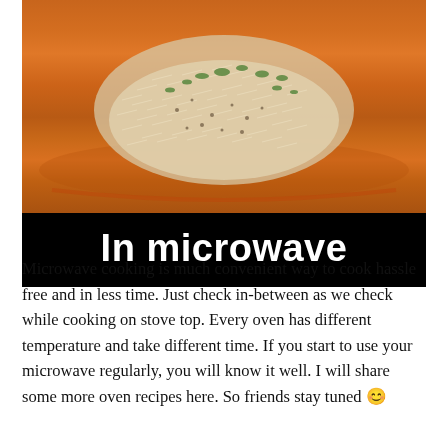[Figure (photo): A photo of rice dish (likely biryani or similar) served on an orange/red plate, garnished with green herbs. Below the photo is a black banner with white bold text reading 'In microwave'.]
Microwave cooking is much convenient way to cook hassle free and in less time. Just check in-between as we check while cooking on stove top. Every oven has different temperature and take different time. If you start to use your microwave regularly, you will know it well. I will share some more oven recipes here. So friends stay tuned 😊